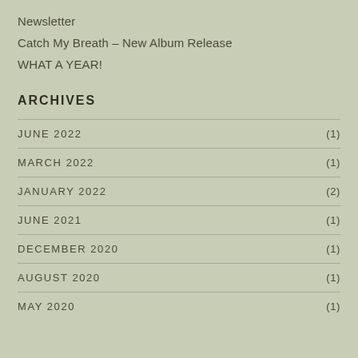Newsletter
Catch My Breath – New Album Release
WHAT A YEAR!
ARCHIVES
JUNE 2022 (1)
MARCH 2022 (1)
JANUARY 2022 (2)
JUNE 2021 (1)
DECEMBER 2020 (1)
AUGUST 2020 (1)
MAY 2020 (1)